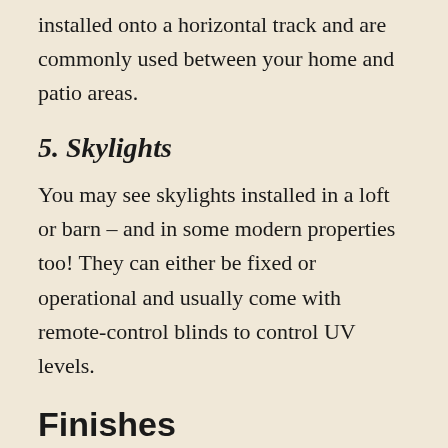installed onto a horizontal track and are commonly used between your home and patio areas.
5. Skylights
You may see skylights installed in a loft or barn – and in some modern properties too! They can either be fixed or operational and usually come with remote-control blinds to control UV levels.
Finishes
Windows can come in all different finishes